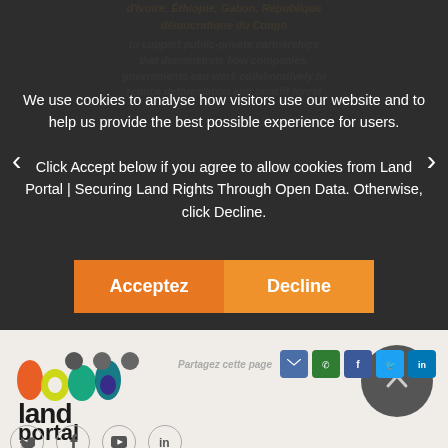We use cookies to analyse how visitors use our website and to help us provide the best possible experience for users.

Click Accept below if you agree to allow cookies from Land Portal | Securing Land Rights Through Open Data. Otherwise, click Decline.
[Figure (screenshot): Cookie consent overlay on Land Portal website with Acceptez and Decline buttons, carousel navigation arrows, dots, and social sharing icons for email, WhatsApp, Facebook, Twitter, LinkedIn. Partially visible background text about Côte d'Ivoire, Éthiopie, Gabon, République démocratique du Congo and public-private partnerships.]
[Figure (logo): Land Portal logo with colorful circular letter designs spelling 'land' and 'portal' in black text below]
[Figure (infographic): Back to top button (upward chevron in dark circle) and social media footer icons for Twitter, Facebook, YouTube, LinkedIn]